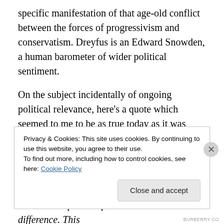specific manifestation of that age-old conflict between the forces of progressivism and conservatism. Dreyfus is an Edward Snowden, a human barometer of wider political sentiment.
On the subject incidentally of ongoing political relevance, here's a quote which seemed to me to be as true today as it was when written:
He was, indeed, in the habit of always comparing what he heard or read with an already familiar canon, and felt his admiration quicken if he could detect no difference. This
Privacy & Cookies: This site uses cookies. By continuing to use this website, you agree to their use.
To find out more, including how to control cookies, see here: Cookie Policy
Close and accept
BURBERRY CO